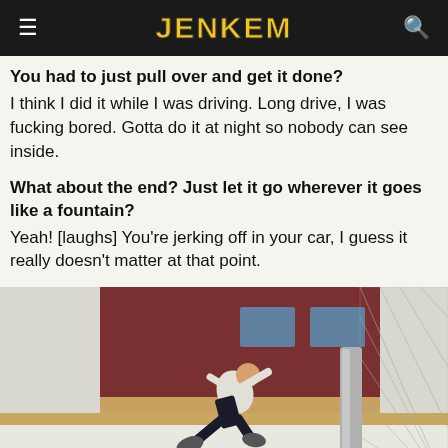JENKEM
You had to just pull over and get it done?
I think I did it while I was driving. Long drive, I was fucking bored. Gotta do it at night so nobody can see inside.
What about the end? Just let it go wherever it goes like a fountain?
Yeah! [laughs] You're jerking off in your car, I guess it really doesn't matter at that point.
[Figure (photo): Skateboarder performing a trick over a ledge beside a chain-link fence with a brick building in the background]